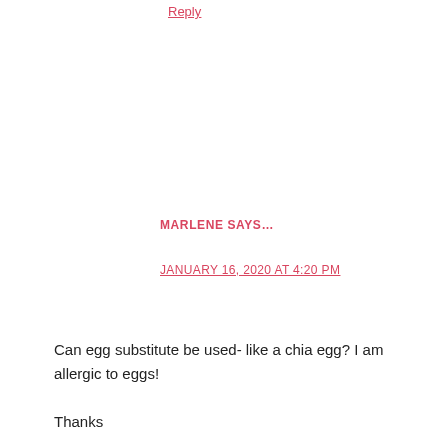Reply
MARLENE SAYS…
JANUARY 16, 2020 AT 4:20 PM
Can egg substitute be used- like a chia egg? I am allergic to eggs!
Thanks